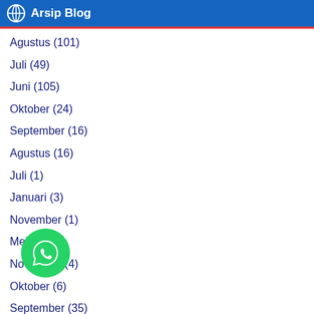Arsip Blog
Agustus (101)
Juli (49)
Juni (105)
Oktober (24)
September (16)
Agustus (16)
Juli (1)
Januari (3)
November (1)
Mei (4)
November (4)
Oktober (6)
September (35)
Agustus (28)
Juli
Juni
Mei (10)
April (29)